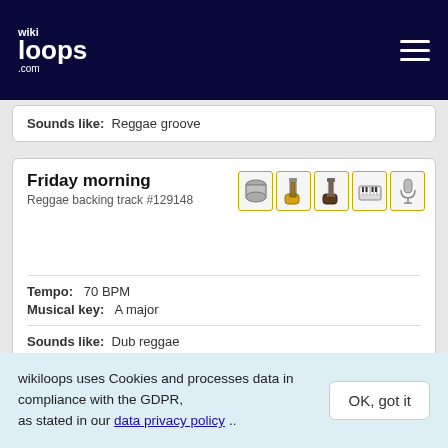wikiloops.com
Sounds like: Reggae groove
Friday morning
Reggae backing track #129148
[Figure (illustration): Five instrument icon boxes with gold borders: drum, bass guitar, electric guitar, keyboard, microphone]
Tempo: 70 BPM
Musical key: A major
Sounds like: Dub reggae
J'aime ça
Reggae backing track #99934
[Figure (illustration): Three instrument icon boxes with gold borders: guitar, microphone, microphone]
wikiloops uses Cookies and processes data in compliance with the GDPR, as stated in our data privacy policy ..